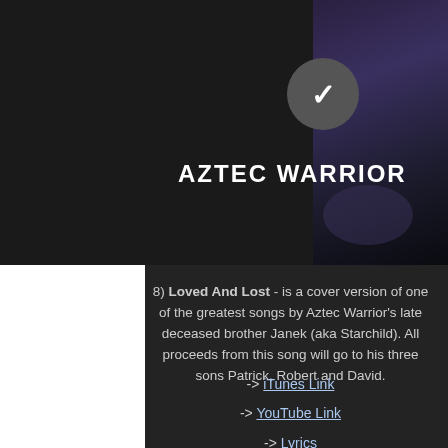AZTEC WARRIOR
8) Loved And Lost - is a cover version of one of the greatest songs by Aztec Warrior's late deceased brother Janek (aka Starchild). All proceeds from this song will go to his three sons Patrick, Robert and David.
-> iTunes Link
-> YouTube Link
-> Lyrics